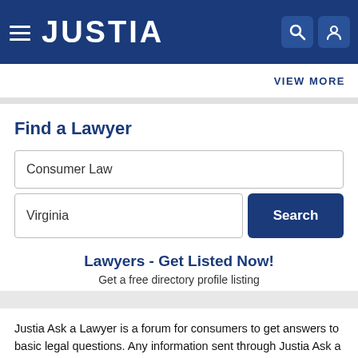JUSTIA
VIEW MORE
Find a Lawyer
Consumer Law
Virginia
Search
Lawyers - Get Listed Now!
Get a free directory profile listing
Justia Ask a Lawyer is a forum for consumers to get answers to basic legal questions. Any information sent through Justia Ask a Lawyer is not secure and is done so on a non-confidential basis